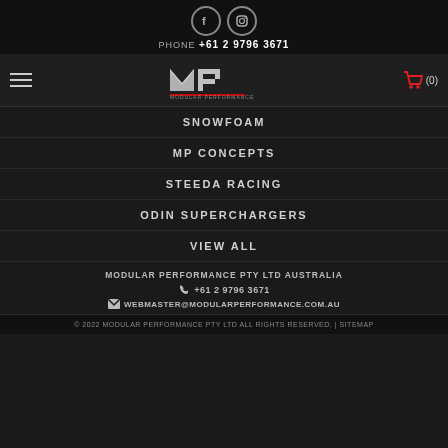PHONE +61 2 9796 3671
[Figure (logo): Modular Performance MP logo with stylized MP lettering]
SNOWFOAM
MP CONCEPTS
STEEDA RACING
ODIN SUPERCHARGERS
VIEW ALL
MODULAR PERFORMANCE PTY LTD AUSTRALIA
+61 2 9796 3671
WEBMASTER@MODULARPERFORMANCE.COM.AU
© 2022 MODULAR PERFORMANCE PTY LTD ALL RIGHTS RESERVED. | SITEMAP